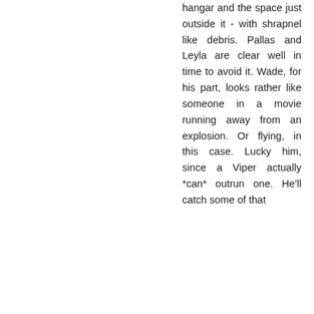hangar and the space just outside it - with shrapnel like debris. Pallas and Leyla are clear well in time to avoid it. Wade, for his part, looks rather like someone in a movie running away from an explosion. Or flying, in this case. Lucky him, since a Viper actually *can* outrun one. He'll catch some of that